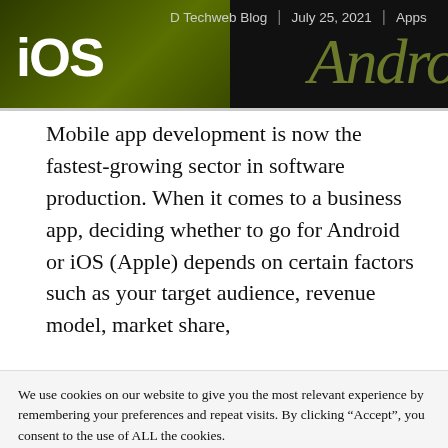D Techweb Blog | July 25, 2021 | Apps
Mobile app development is now the fastest-growing sector in software production. When it comes to a business app, deciding whether to go for Android or iOS (Apple) depends on certain factors such as your target audience, revenue model, market share,
We use cookies on our website to give you the most relevant experience by remembering your preferences and repeat visits. By clicking “Accept”, you consent to the use of ALL the cookies. Do not sell my personal information.